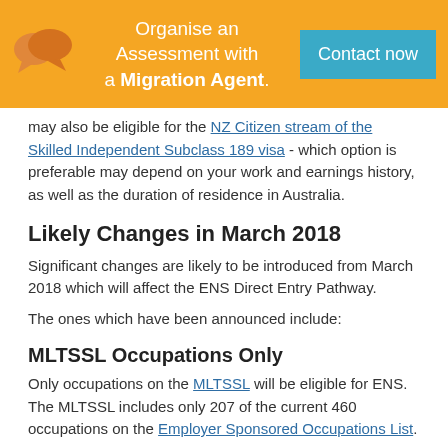[Figure (infographic): Orange banner with chat bubble icon, text 'Organise an Assessment with a Migration Agent.' and a teal 'Contact now' button]
may also be eligible for the NZ Citizen stream of the Skilled Independent Subclass 189 visa - which option is preferable may depend on your work and earnings history, as well as the duration of residence in Australia.
Likely Changes in March 2018
Significant changes are likely to be introduced from March 2018 which will affect the ENS Direct Entry Pathway.
The ones which have been announced include:
MLTSSL Occupations Only
Only occupations on the MLTSSL will be eligible for ENS. The MLTSSL includes only 207 of the current 460 occupations on the Employer Sponsored Occupations List.
Additional Fees